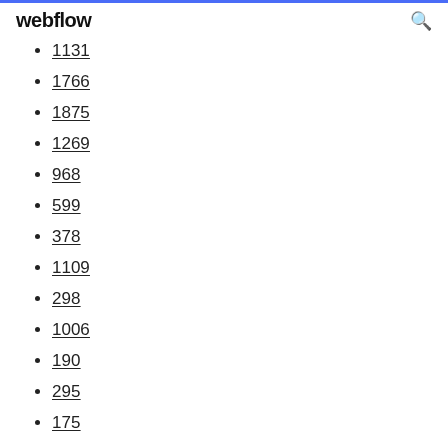webflow
1131
1766
1875
1269
968
599
378
1109
298
1006
190
295
175